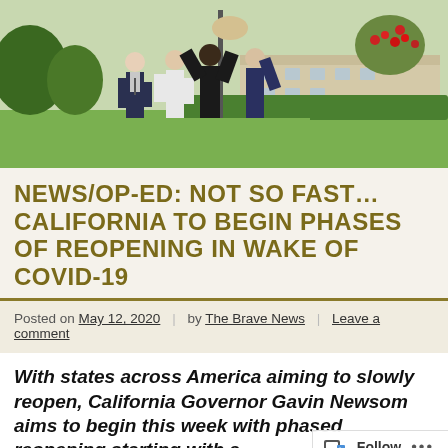[Figure (photo): Outdoor scene with several men in business attire gathered around a flagpole or post on a green lawn near a building with red flowers]
NEWS/OP-ED: NOT SO FAST… CALIFORNIA TO BEGIN PHASES OF REOPENING IN WAKE OF COVID-19
Posted on May 12, 2020 | by The Brave News | Leave a comment
With states across America aiming to slowly reopen, California Governor Gavin Newsom aims to begin this week with phased reopening starting with a...